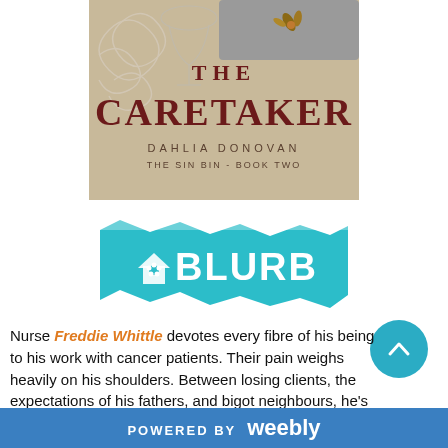[Figure (illustration): Book cover for 'The Caretaker' by Dahlia Donovan, The Sin Bin Book Two. Beige/kraft paper background with decorative swirls, a hand holding a wine glass, and small floral elements. Large dark red bold text reads 'THE CARETAKER'. Author name and series info below.]
[Figure (logo): Blurb banner logo with teal/turquoise torn paper effect background, white house icon with a flower, and bold white capital letters 'BLURB'.]
Nurse Freddie Whittle devotes every fibre of his being to his work with cancer patients. Their pain weighs heavily on his shoulders. Between losing clients, the expectations of his fathers, and bigot neighbours, he's
POWERED BY weebly